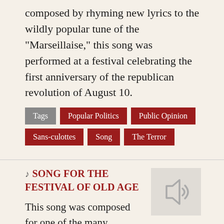composed by rhyming new lyrics to the wildly popular tune of the "Marseillaise," this song was performed at a festival celebrating the first anniversary of the republican revolution of August 10.
Tags | Popular Politics | Public Opinion | Sans-culottes | Song | The Terror
♪ Song for the Festival of Old Age
This song was composed for one of the many Directorial festivals that were not overtly political. Several,